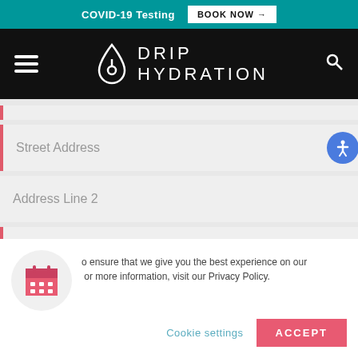COVID-19 Testing   BOOK NOW →
[Figure (logo): Drip Hydration logo with hamburger menu and search icon on black navigation bar]
Street Address
Address Line 2
[Figure (infographic): Cookie consent popup with calendar icon, cookie policy text, Cookie settings button, and ACCEPT button]